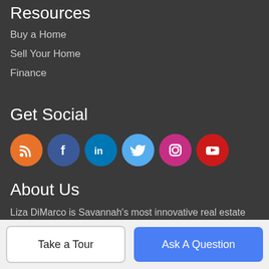Resources
Buy a Home
Sell Your Home
Finance
Get Social
[Figure (illustration): Row of 6 social media icons: RSS (orange), Facebook (dark blue), LinkedIn (blue), Twitter (light blue), Instagram (pink/magenta), YouTube (red)]
About Us
Liza DiMarco is Savannah's most innovative real estate team.
Liza DiMarco | Berkshire Hathaway HomeServices Cora Bett Thomas Realty
5 E Perry St, Savannah, GA 31401
Take a Tour   Ask A Question